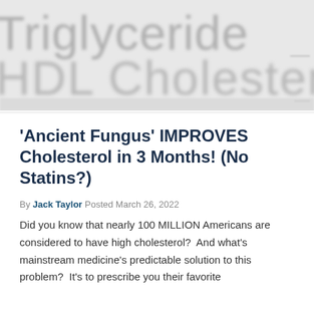[Figure (photo): Blurred medical/lab report background showing text 'Triglyceride' and 'HDL Cholesterol' in large light gray letters]
'Ancient Fungus' IMPROVES Cholesterol in 3 Months! (No Statins?)
By Jack Taylor Posted March 26, 2022
Did you know that nearly 100 MILLION Americans are considered to have high cholesterol?  And what's mainstream medicine's predictable solution to this problem?  It's to prescribe you their favorite